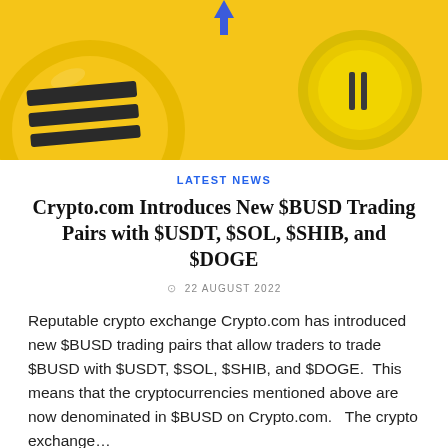[Figure (illustration): Yellow/gold background hero banner with two cryptocurrency coin illustrations — a large black-striped gold coin on the left and a gold coin with double-bar symbol on the right, with a blue downward arrow at top center.]
LATEST NEWS
Crypto.com Introduces New $BUSD Trading Pairs with $USDT, $SOL, $SHIB, and $DOGE
22 AUGUST 2022
Reputable crypto exchange Crypto.com has introduced new $BUSD trading pairs that allow traders to trade $BUSD with $USDT, $SOL, $SHIB, and $DOGE.  This means that the cryptocurrencies mentioned above are now denominated in $BUSD on Crypto.com.   The crypto exchange…
[Figure (other): Light gray card/banner at the bottom of the page, partially visible.]